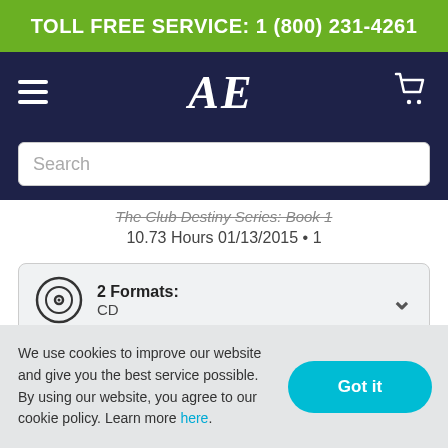TOLL FREE SERVICE: 1 (800) 231-4261
[Figure (logo): AE logo in italic serif font on navy background with hamburger menu and cart icon]
Search
The Club Destiny Series: Book 1
10.73 Hours 01/13/2015 • 1
2 Formats: CD
$34.95 $22.72
We use cookies to improve our website and give you the best service possible. By using our website, you agree to our cookie policy. Learn more here.